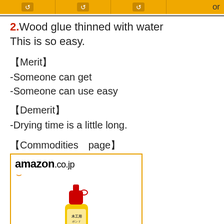[Figure (screenshot): Top bar with Amazon-style golden icons and 'or' text]
2.Wood glue thinned with water
This is so easy.
【Merit】
-Someone can get
-Someone can use easy
【Demerit】
-Drying time is a little long.
【Commodities　page】
[Figure (screenshot): Amazon.co.jp product card showing wood glue bottle (yellow, red cap), Japanese product link text, price ¥523 with Prime badge]